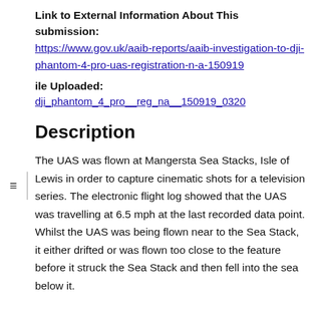Link to External Information About This submission: https://www.gov.uk/aaib-reports/aaib-investigation-to-dji-phantom-4-pro-uas-registration-n-a-150919
File Uploaded: dji_phantom_4_pro__reg_na__150919_0320
Description
The UAS was flown at Mangersta Sea Stacks, Isle of Lewis in order to capture cinematic shots for a television series. The electronic flight log showed that the UAS was travelling at 6.5 mph at the last recorded data point. Whilst the UAS was being flown near to the Sea Stack, it either drifted or was flown too close to the feature before it struck the Sea Stack and then fell into the sea below it.